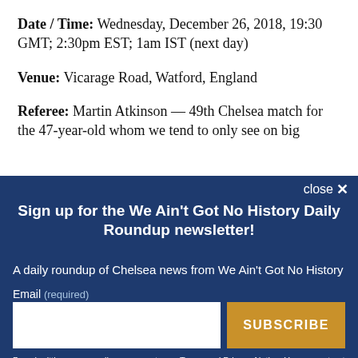Date / Time: Wednesday, December 26, 2018, 19:30 GMT; 2:30pm EST; 1am IST (next day)
Venue: Vicarage Road, Watford, England
Referee: Martin Atkinson — 49th Chelsea match for the 47-year-old whom we tend to only see on big
close ✕
Sign up for the We Ain't Got No History Daily Roundup newsletter!
A daily roundup of Chelsea news from We Ain't Got No History
Email (required)
SUBSCRIBE
By submitting your email, you agree to our Terms and Privacy Notice. You can opt out at any time. This site is protected by reCAPTCHA and the Google Privacy Policy and Terms of Service apply.